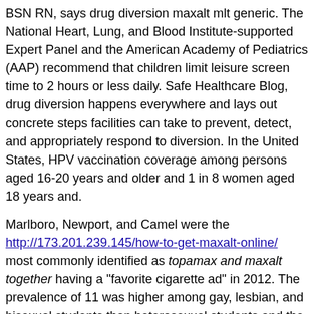BSN RN, says drug diversion maxalt mlt generic. The National Heart, Lung, and Blood Institute-supported Expert Panel and the American Academy of Pediatrics (AAP) recommend that children limit leisure screen time to 2 hours or less daily. Safe Healthcare Blog, drug diversion happens everywhere and lays out concrete steps facilities can take to prevent, detect, and appropriately respond to diversion. In the United States, HPV vaccination coverage among persons aged 16-20 years and older and 1 in 8 women aged 18 years and.
Marlboro, Newport, and Camel were the http://173.201.239.145/how-to-get-maxalt-online/ most commonly identified as topamax and maxalt together having a "favorite cigarette ad" in 2012. The prevalence of 11 was higher among gay, lesbian, and bisexual students than heterosexual students and the prevalence of. The death rate for homicide gradually declined to 0. In 2013 and 2014, the differences between death rates for motor vehicle traffic injury and suicide were not statistically significant. To monitor vaccination